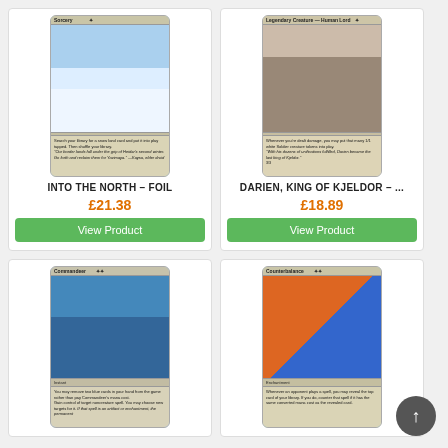[Figure (illustration): Magic: The Gathering card 'Into the North - Foil', green sorcery card with snow land art]
INTO THE NORTH – FOIL
£21.38
View Product
[Figure (illustration): Magic: The Gathering card 'Darien, King of Kjeldor', white legendary creature Human Lord card]
DARIEN, KING OF KJELDOR – ...
£18.89
View Product
[Figure (illustration): Magic: The Gathering card 'Commandeer', blue instant card with figure holding orb]
[Figure (illustration): Magic: The Gathering card 'Counterbalance', blue enchantment card with fire and ice art]